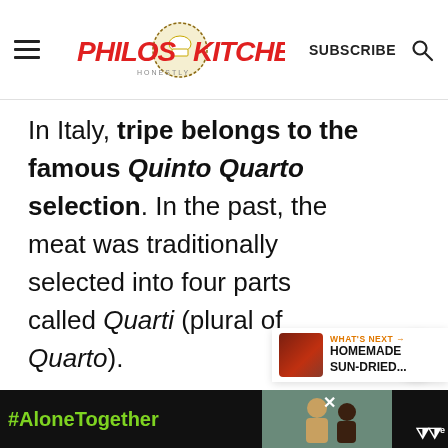Philos Kitchen — SUBSCRIBE (search icon)
In Italy, tripe belongs to the famous Quinto Quarto selection. In the past, the meat was traditionally selected into four parts called Quarti (plural of Quarto).
The First Quarto, composed of
[Figure (other): What's Next widget showing HOMEMADE SUN-DRIED... article thumbnail]
[Figure (other): Ad banner with #AloneTogether text, two people photo, close button, and brand logo]